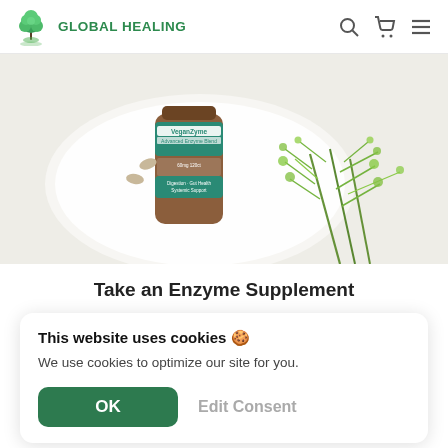GLOBAL HEALING
[Figure (photo): Product photo of VeganZyme Advanced Enzyme Blend supplement bottle on a white plate with green herbs and capsules on a light background]
Take an Enzyme Supplement
This website uses cookies 🍪
We use cookies to optimize our site for you.
OK  Edit Consent